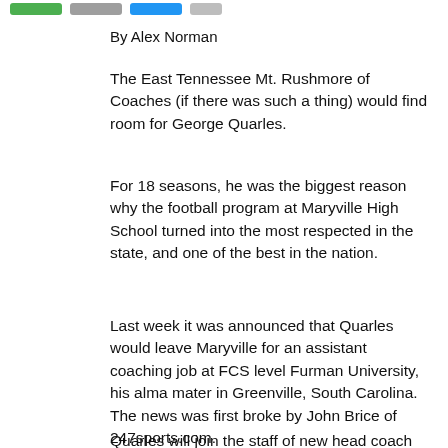[social share buttons bar]
By Alex Norman
The East Tennessee Mt. Rushmore of Coaches (if there was such a thing) would find room for George Quarles.
For 18 seasons, he was the biggest reason why the football program at Maryville High School turned into the most respected in the state, and one of the best in the nation.
Last week it was announced that Quarles would leave Maryville for an assistant coaching job at FCS level Furman University, his alma mater in Greenville, South Carolina.  The news was first broke by John Brice of 247sports.com.
Quarles will join the staff of new head coach